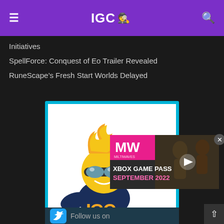IGC 🕵 (menu and search icons)
Initiatives
SpellForce: Conquest of Eo Trailer Revealed
RuneScape's Fresh Start Worlds Delayed
[Figure (illustration): IGC mascot character with orange hair and sunglasses pointing, in front of IGC logo. Overlaid with an Xbox Game Pass September 2022 video ad with play button and MW logo.]
[Figure (illustration): Follow us on Twitter banner with blue Twitter bird icon and partial view of social media icons]